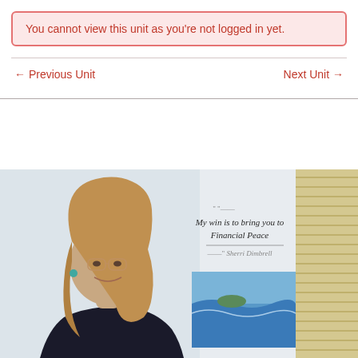You cannot view this unit as you're not logged in yet.
← Previous Unit
Next Unit →
[Figure (photo): A smiling woman with blonde hair and glasses wearing a black top, seated in front of a wall with a decorative quote reading 'My win is to bring you to Financial Peace — Sherri Dimbrell' and a seascape painting. A window blind is visible on the right.]